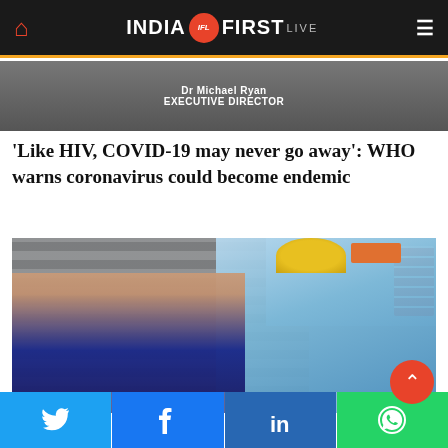INDIA FIRST LIVE
[Figure (photo): Partial image showing Dr Michael Ryan, Executive Director text overlay]
'Like HIV, COVID-19 may never go away': WHO warns coronavirus could become endemic
[Figure (photo): Healthcare worker in PPE blue suit performing nasal swab test on a patient outdoors]
Twitter | Facebook | LinkedIn | WhatsApp social sharing buttons